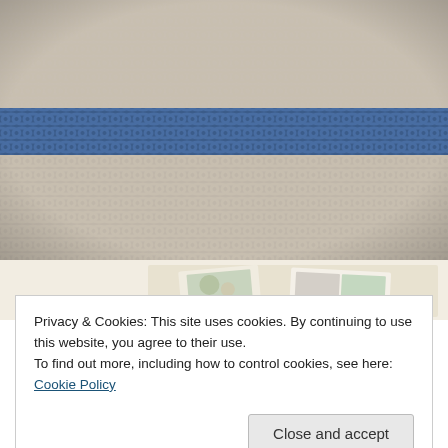[Figure (photo): Close-up macro photograph of crochet fabric showing beige/tan yarn with a horizontal stripe of blue/denim-colored yarn across the middle. The textile texture shows individual crochet stitches in detail.]
[Figure (photo): Partial view of a lifestyle banner image showing recipe books or magazines with food photography, on a cream/ivory background.]
Privacy & Cookies: This site uses cookies. By continuing to use this website, you agree to their use.
To find out more, including how to control cookies, see here: Cookie Policy
Close and accept